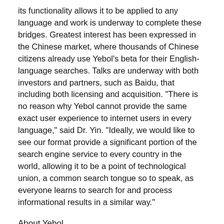its functionality allows it to be applied to any language and work is underway to complete these bridges. Greatest interest has been expressed in the Chinese market, where thousands of Chinese citizens already use Yebol's beta for their English-language searches. Talks are underway with both investors and partners, such as Baidu, that including both licensing and acquisition. "There is no reason why Yebol cannot provide the same exact user experience to internet users in every language," said Dr. Yin. "Ideally, we would like to see our format provide a significant portion of the search engine service to every country in the world, allowing it to be a point of technological union, a common search tongue so to speak, as everyone learns to search for and process informational results in a similar way."
About Yebol
Yebol was founded by Hongfeng Yin, Ph.D., former Yahoo engineer, with more than 20 years of R & D experience on artificial intelligence, pattern recognition, data mining and search. For more information, please visit www.yebol.com.